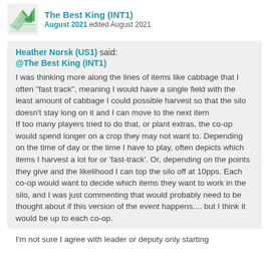The Best King (INT1) August 2021 edited August 2021
Heather Norsk (US1) said:
@The Best King (INT1)
I was thinking more along the lines of items like cabbage that I often "fast track", meaning I would have a single field with the least amount of cabbage I could possible harvest so that the silo doesn't stay long on it and I can move to the next item
If too many players tried to do that, or plant extras, the co-op would spend longer on a crop they may not want to. Depending on the time of day or the time I have to play, often depicts which items I harvest a lot for or 'fast-track'. Or, depending on the points they give and the likelihood I can top the silo off at 10pps. Each co-op would want to decide which items they want to work in the silo, and I was just commenting that would probably need to be thought about if this version of the event happens.... but I think it would be up to each co-op.
I'm not sure I agree with leader or deputy only starting